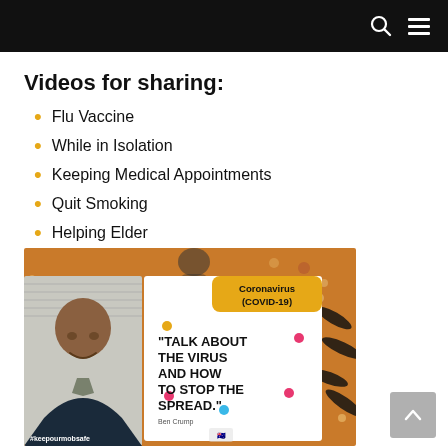Videos for sharing:
Flu Vaccine
While in Isolation
Keeping Medical Appointments
Quit Smoking
Helping Elder
[Figure (photo): COVID-19 health campaign image featuring a man smiling, with Indigenous Australian artwork background. Text reads: 'Coronavirus (COVID-19) TALK ABOUT THE VIRUS AND HOW TO STOP THE SPREAD.' Quote attributed to Ben Crump. Hashtag #keepourmobsafe visible at bottom.]